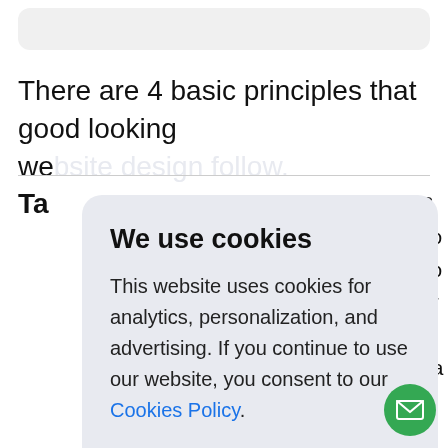There are 4 basic principles that good looking we
Ta
B so yo ur w pa re th ne
[Figure (screenshot): Cookie consent modal dialog with title 'We use cookies', body text about cookies usage, a 'Cookies Policy' link, and an 'Accept' button.]
[Figure (other): Green circular email/chat button at bottom right corner.]